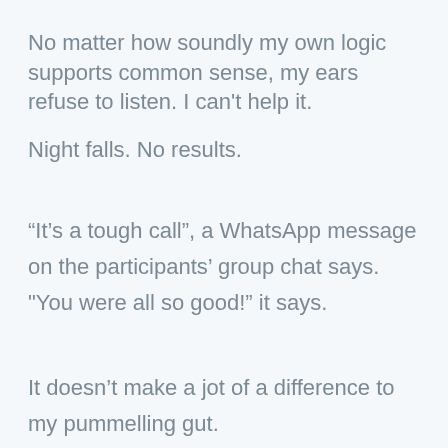No matter how soundly my own logic supports common sense, my ears refuse to listen. I can't help it.
Night falls. No results.
“It’s a tough call”, a WhatsApp message on the participants’ group chat says. "You were all so good!" it says.
It doesn’t make a jot of a difference to my pummelling gut.